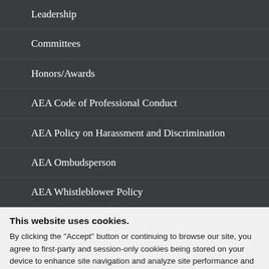Leadership
Committees
Honors/Awards
AEA Code of Professional Conduct
AEA Policy on Harassment and Discrimination
AEA Ombudsperson
AEA Whistleblower Policy
This website uses cookies.
By clicking the "Accept" button or continuing to browse our site, you agree to first-party and session-only cookies being stored on your device to enhance site navigation and analyze site performance and traffic. For more information on our use of cookies, please see our Privacy Policy.